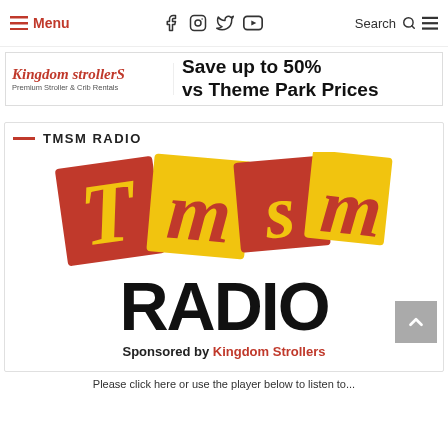Menu | Social icons | Search | Menu
[Figure (illustration): Kingdom Strollers advertisement banner: 'Save up to 50% vs Theme Park Prices']
TMSM RADIO
[Figure (logo): TMSM Radio logo with red and yellow block letters spelling TMSM on colored squares, and RADIO in large black bold text below]
Sponsored by Kingdom Strollers
Please click here or use the player below to listen to...